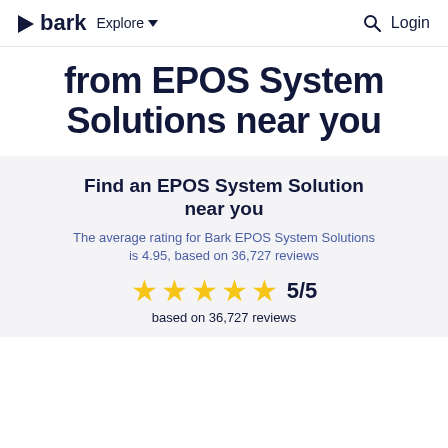bark  Explore  Login
from EPOS System Solutions near you
Find an EPOS System Solution near you
The average rating for Bark EPOS System Solutions is 4.95, based on 36,727 reviews
★★★★★ 5/5
based on 36,727 reviews